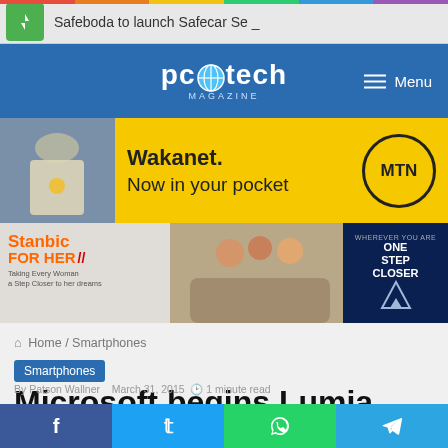Safeboda to launch Safecar Se_
[Figure (logo): PC Tech Magazine logo with globe icon on blue background header bar with Menu button]
[Figure (infographic): Wakanet. Now in your pocket - MTN advertisement banner with yellow background]
[Figure (infographic): Stanbic For Her advertisement banner with women photo and one step closer tagline]
Home / Smartphones
Smartphones
Microsoft begins Lumia 430 rollout in Asia and Africa
By ... March 31, 2015 · 1 minute read
f  t  (whatsapp icon)  (telegram icon)